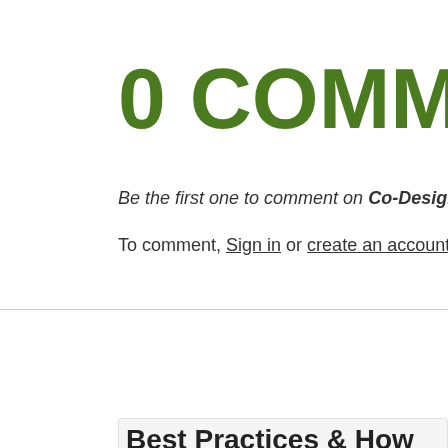0 COMMENTS
Be the first one to comment on Co-Designing Health & Care
To comment, Sign in or create an account.
SEE ALSO:
Best Practices & How...